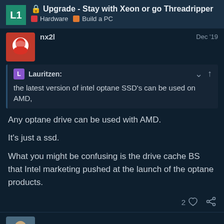🔒 Upgrade - Stay with Xeon or go Threadripper | Hardware | Build a PC
nx2I — Dec '19
Lauritzen: the latest version of intel optane SSD's can be used on AMD,
Any optane drive can be used with AMD.

It's just a ssd.

What you might be confusing is the drive cache BS that Intel marketing pushed at the launch of the optane products.
2 ♡ 🔗
cros13
24 / 41